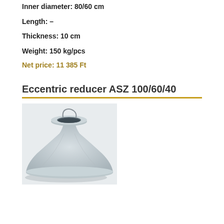Inner diameter: 80/60 cm
Length: –
Thickness: 10 cm
Weight: 150 kg/pcs
Net price: 11 385 Ft
Eccentric reducer ASZ 100/60/40
[Figure (photo): Photo of a concrete eccentric reducer component (ASZ 100/60/40), a truncated cone-shaped precast concrete piece with a circular opening at the top and a wide flat bottom edge, light grey in color.]